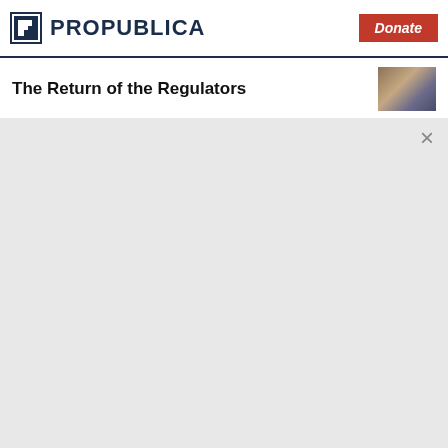ProPublica — Donate
The Return of the Regulators
Journalism That Holds Power to Account
Sign up for ProPublica's Big Story newsletter and get our latest stories delivered straight to your inbox.
you@example.com
Get the Newsletter
No thanks, I'm all set
This site is protected by reCAPTCHA and the Google Privacy Policy and Terms of Service apply.